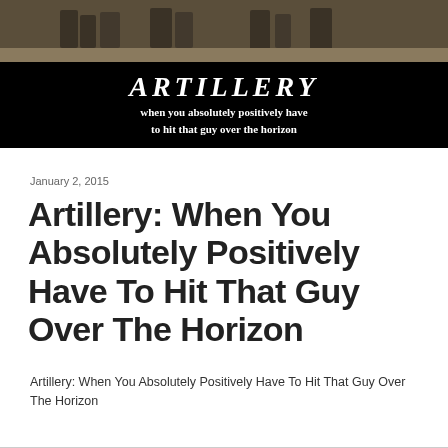[Figure (photo): Black banner image showing soldiers in camouflage with military equipment in a desert setting. White decorative text reads 'ARTILLERY' in gothic/military font, below it reads 'when you absolutely positively have to hit that guy over the horizon' in bold white serif font on black background.]
January 2, 2015
Artillery: When You Absolutely Positively Have To Hit That Guy Over The Horizon
Artillery: When You Absolutely Positively Have To Hit That Guy Over The Horizon